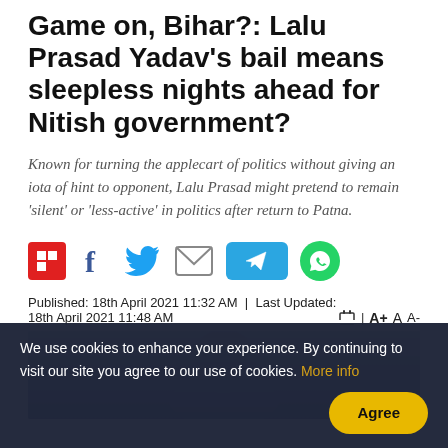Game on, Bihar?: Lalu Prasad Yadav's bail means sleepless nights ahead for Nitish government?
Known for turning the applecart of politics without giving an iota of hint to opponent, Lalu Prasad might pretend to remain 'silent' or 'less-active' in politics after return to Patna.
[Figure (infographic): Social share buttons: Flipboard (red), Facebook (blue f), Twitter (blue bird), Email (grey envelope), Telegram (blue button with paper plane), WhatsApp (green circle)]
Published: 18th April 2021 11:32 AM  |  Last Updated: 18th April 2021 11:48 AM
[Figure (photo): Partial article image with grey/blue gradient background, showing a person partially visible]
We use cookies to enhance your experience. By continuing to visit our site you agree to our use of cookies. More info